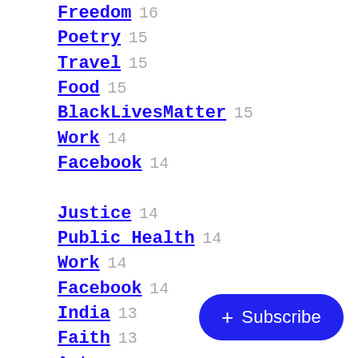Freedom 16
Poetry 15
Travel 15
Food 15
BlackLivesMatter 15
Work 14
Facebook 14
Justice 14
Public Health 14
Work 14
Facebook 14
India 13
Faith 13
Art 12
Social Media 11
Television 11
Wealth 11
Corruption 11
Evolution 11
America 10